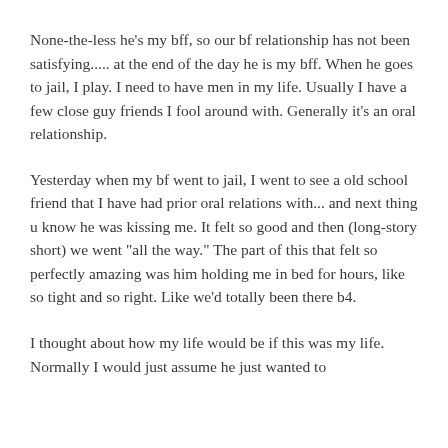None-the-less he's my bff, so our bf relationship has not been satisfying..... at the end of the day he is my bff. When he goes to jail, I play. I need to have men in my life. Usually I have a few close guy friends I fool around with. Generally it's an oral relationship.
Yesterday when my bf went to jail, I went to see a old school friend that I have had prior oral relations with... and next thing u know he was kissing me. It felt so good and then (long-story short) we went "all the way." The part of this that felt so perfectly amazing was him holding me in bed for hours, like so tight and so right. Like we'd totally been there b4.
I thought about how my life would be if this was my life. Normally I would just assume he just wanted to